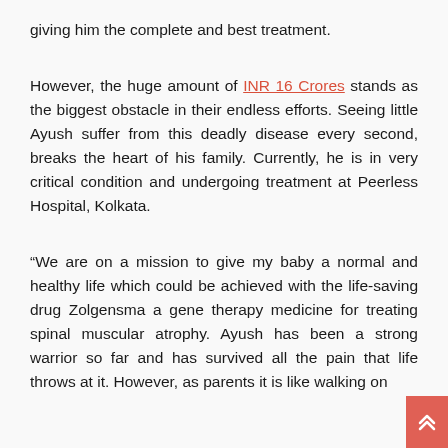giving him the complete and best treatment.
However, the huge amount of INR 16 Crores stands as the biggest obstacle in their endless efforts. Seeing little Ayush suffer from this deadly disease every second, breaks the heart of his family. Currently, he is in very critical condition and undergoing treatment at Peerless Hospital, Kolkata.
“We are on a mission to give my baby a normal and healthy life which could be achieved with the life-saving drug Zolgensma a gene therapy medicine for treating spinal muscular atrophy. Ayush has been a strong warrior so far and has survived all the pain that life throws at it. However, as parents it is like walking on